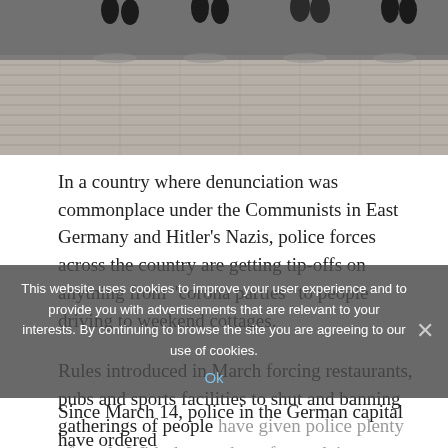[Figure (photo): Photo showing people's legs and feet walking on a wooden deck or plaza surface. The background is a tiled/planked outdoor surface. Only the lower portion of people's bodies are visible.]
In a country where denunciation was commonplace under the Communists in East Germany and Hitler’s Nazis, police forces across the country are getting tip-offs on anything from “corona parties” to people driving to weekend cottages.
Rules introduced in March forcing restaurants, pubs and sports facilities to shut and banning gatherings of people have given police plenty of work. With the number of complaints surging, longer restrictions had contributed to an easing.
This website uses cookies to improve your user experience and to provide you with advertisements that are relevant to your interests. By continuing to browse the site you are agreeing to our use of cookies.
Since March 14, police in the German capital have ordered